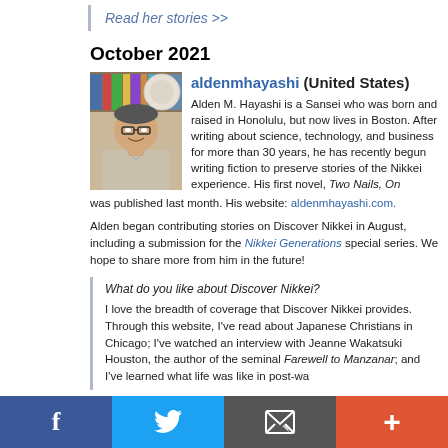Read her stories >>
October 2021
[Figure (photo): Portrait photo of Alden M. Hayashi, a man with glasses smiling, books visible in background]
aldenmhayashi (United States)
Alden M. Hayashi is a Sansei who was born and raised in Honolulu, but now lives in Boston. After writing about science, technology, and business for more than 30 years, he has recently begun writing fiction to preserve stories of the Nikkei experience. His first novel, Two Nails, One... was published last month. His website: aldenmhayashi.com.
Alden began contributing stories on Discover Nikkei in August, including a submission for the Nikkei Generations special series. We hope to share more from him in the future!
What do you like about Discover Nikkei?
I love the breadth of coverage that Discover Nikkei provides. Through this website, I've read about Japanese Christians in Chicago; I've watched an interview with Jeanne Wakatsuki Houston, the author of the seminal Farewell to Manzanar; and I've learned what life was like in post-wa...
f  Twitter  Email  +